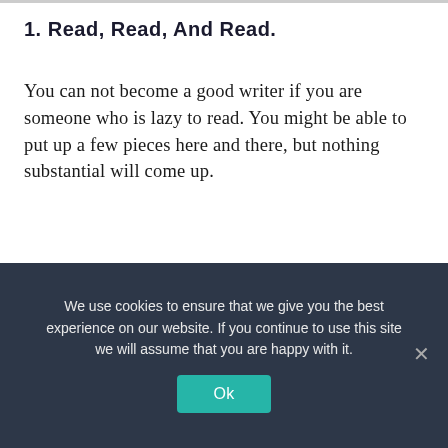1. Read, Read, And Read.
You can not become a good writer if you are someone who is lazy to read. You might be able to put up a few pieces here and there, but nothing substantial will come up.
So, the first thing to become a better writer is to read. Read articles or books as much as you can and try to find the reason why that particular article or book has touched
We use cookies to ensure that we give you the best experience on our website. If you continue to use this site we will assume that you are happy with it.